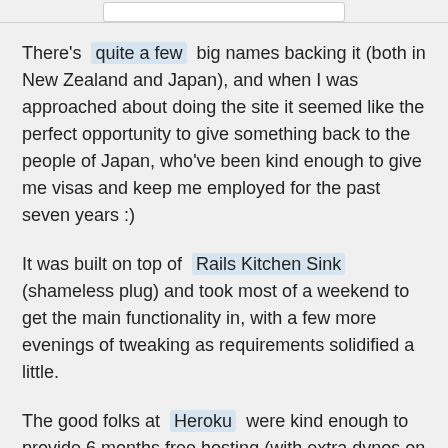There's quite a few big names backing it (both in New Zealand and Japan), and when I was approached about doing the site it seemed like the perfect opportunity to give something back to the people of Japan, who've been kind enough to give me visas and keep me employed for the past seven years :)
It was built on top of Rails Kitchen Sink (shameless plug) and took most of a weekend to get the main functionality in, with a few more evenings of tweaking as requirements solidified a little.
The good folks at Heroku were kind enough to provide 6 months free hosting (with extra dynos on top of the free plan), so the whole initiative has only cost a few hours of my time, plus a few hours for Toshi at Second Drip who was kind enough to do the Japanese